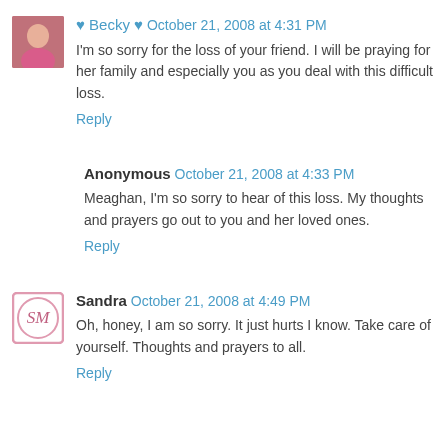[Figure (photo): Avatar photo of Becky, a woman in a pink top]
♥ Becky ♥ October 21, 2008 at 4:31 PM
I'm so sorry for the loss of your friend. I will be praying for her family and especially you as you deal with this difficult loss.
Reply
Anonymous October 21, 2008 at 4:33 PM
Meaghan, I'm so sorry to hear of this loss. My thoughts and prayers go out to you and her loved ones.
Reply
[Figure (logo): Sandra's avatar with monogram SM in decorative script, pink border]
Sandra October 21, 2008 at 4:49 PM
Oh, honey, I am so sorry. It just hurts I know. Take care of yourself. Thoughts and prayers to all.
Reply